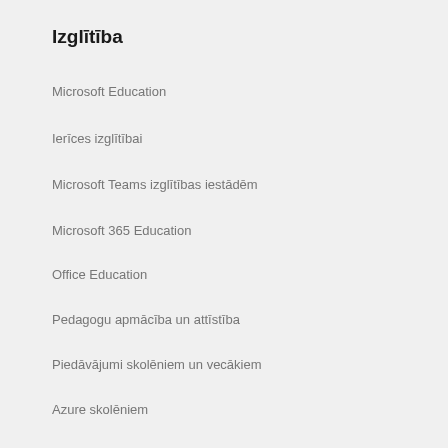Izglītība
Microsoft Education
Ierīces izglītībai
Microsoft Teams izglītības iestādēm
Microsoft 365 Education
Office Education
Pedagogu apmācība un attīstība
Piedāvājumi skolēniem un vecākiem
Azure skolēniem
Uzņēmējdarbība
Microsoft mākonis
Microsoft drošība
Azure